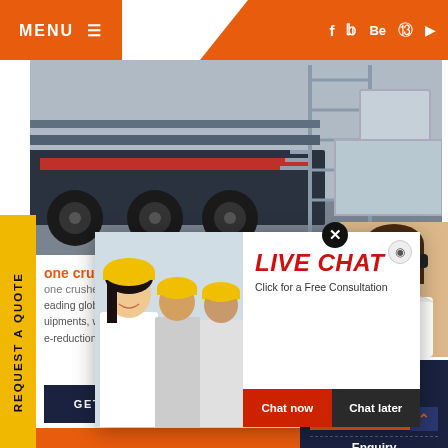MENU | f  t  Be   pinterest  youtube
[Figure (photo): Industrial stone crusher/mining machinery on a truck — heavy equipment with steel scaffolding and red-striped crusher unit]
REQUEST A QUOTE
one crusher
one crusher ... leading global manufacturer of crushing, grinding equipments, we offer advanced, reasonable size-reduction requirements including, Stone ...
[Figure (photo): Live chat popup showing construction workers in yellow hard hats on left, and LIVE CHAT heading in red with 'Click for a Free Consultation' text, Chat now and Chat later buttons]
[Figure (photo): Customer service representative (woman with headset) on right side panel]
Have any requests, click here.
Quote
Enquiry
drobilkalm